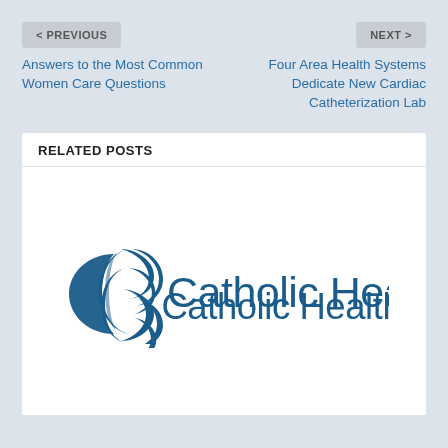< PREVIOUS
NEXT >
Answers to the Most Common Women Care Questions
Four Area Health Systems Dedicate New Cardiac Catheterization Lab
RELATED POSTS
[Figure (logo): Catholic Health logo with circular swoosh symbol and text 'Catholic Health' in dark blue]